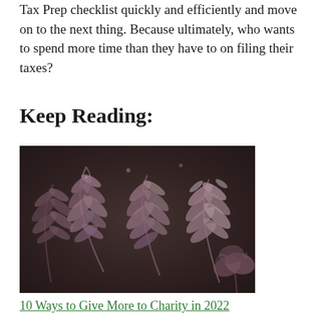Tax Prep checklist quickly and efficiently and move on to the next thing. Because ultimately, who wants to spend more time than they have to on filing their taxes?
Keep Reading:
[Figure (photo): Close-up photograph of frost-covered fern leaves with intricate patterns, dark background with brown and purple tones.]
10 Ways to Give More to Charity in 2022